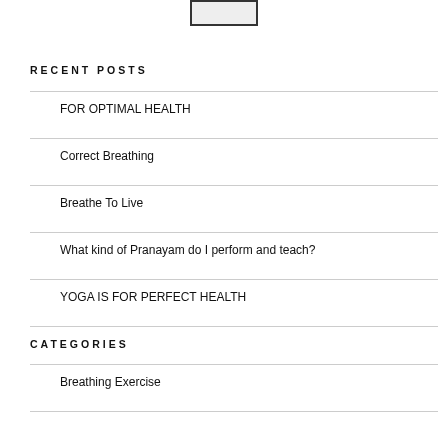[Figure (screenshot): Small bordered image/logo at top center]
RECENT POSTS
FOR OPTIMAL HEALTH
Correct Breathing
Breathe To Live
What kind of Pranayam do I perform and teach?
YOGA IS FOR PERFECT HEALTH
CATEGORIES
Breathing Exercise